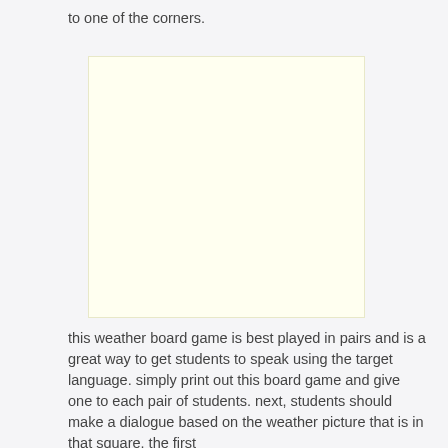to one of the corners.
[Figure (illustration): A large blank yellow-tinted rectangular area representing a weather board game card or play area.]
this weather board game is best played in pairs and is a great way to get students to speak using the target language. simply print out this board game and give one to each pair of students. next, students should make a dialogue based on the weather picture that is in that square. the first